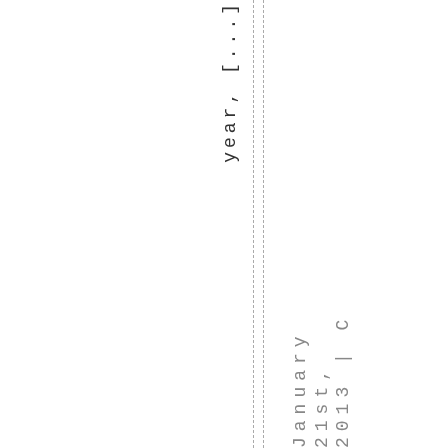year, [...] January 21st, 2013 | C
[Figure (other): Two vertical dashed lines running the full height of the page, approximately at x=253 and x=263.]